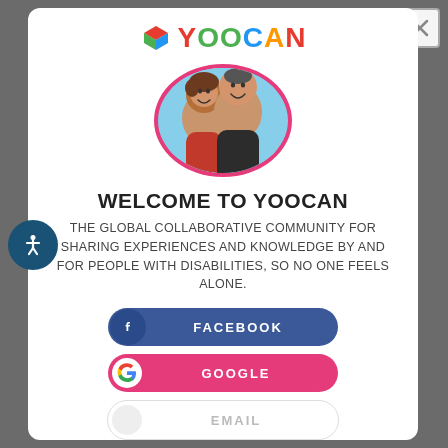[Figure (logo): YOOCAN logo with colorful cube icon and multicolor text]
[Figure (photo): Circular profile photo with pink border showing two people smiling, outdoor background]
WELCOME TO YOOCAN
THE GLOBAL COLLABORATIVE COMMUNITY FOR SHARING EXPERIENCES AND KNOWLEDGE BY AND FOR PEOPLE WITH DISABILITIES, SO NO ONE FEELS ALONE.
[Figure (infographic): Facebook login button with blue background and Facebook icon]
[Figure (infographic): Google login button with pink background and Google icon]
[Figure (infographic): Email login button with white background]